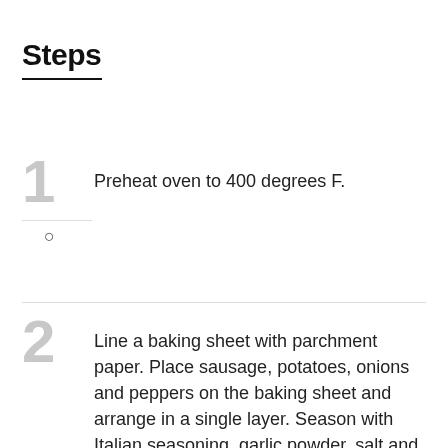Steps
Preheat oven to 400 degrees F.
Line a baking sheet with parchment paper. Place sausage, potatoes, onions and peppers on the baking sheet and arrange in a single layer. Season with Italian seasoning, garlic powder, salt and pepper.